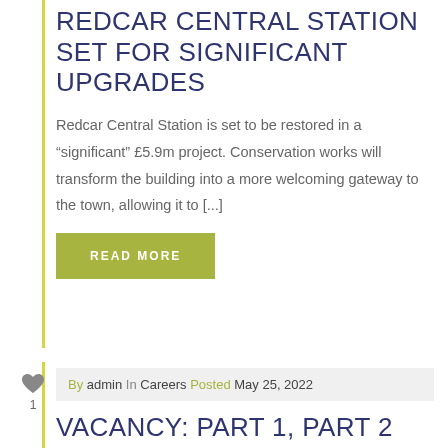REDCAR CENTRAL STATION SET FOR SIGNIFICANT UPGRADES
Redcar Central Station is set to be restored in a "significant" £5.9m project. Conservation works will transform the building into a more welcoming gateway to the town, allowing it to [...]
READ MORE
By admin In Careers Posted May 25, 2022
VACANCY: PART 1, PART 2 ARCHITECTS AND